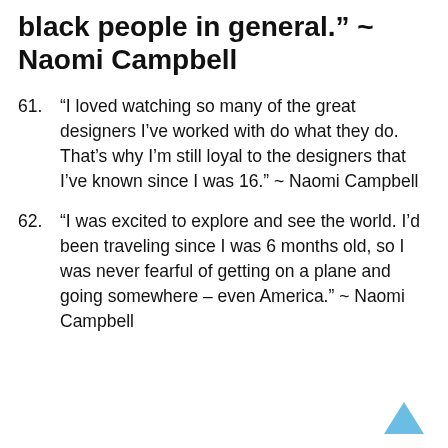black people in general." ~ Naomi Campbell
61. “I loved watching so many of the great designers I’ve worked with do what they do. That’s why I’m still loyal to the designers that I’ve known since I was 16.” ~ Naomi Campbell
62. “I was excited to explore and see the world. I’d been traveling since I was 6 months old, so I was never fearful of getting on a plane and going somewhere – even America.” ~ Naomi Campbell